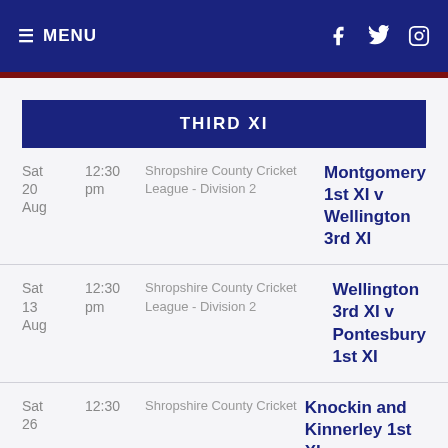≡ MENU
THIRD XI
Sat 20 Aug | 12:30 pm | Shropshire County Cricket League - Division 2 | Montgomery 1st XI v Wellington 3rd XI
Sat 13 Aug | 12:30 pm | Shropshire County Cricket League - Division 2 | Wellington 3rd XI v Pontesbury 1st XI
Sat 26 [cut off] | 12:30 | Shropshire County Cricket League - Division 2 | Knockin and Kinnerley 1st XI [cut off]